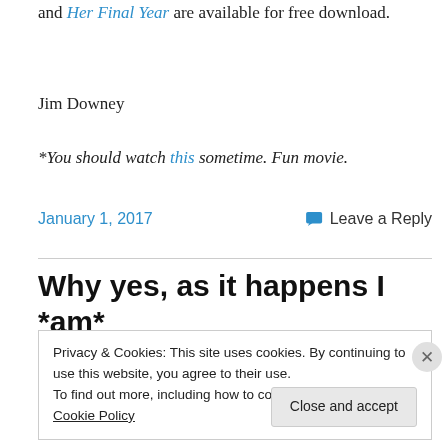and Her Final Year are available for free download.
Jim Downey
*You should watch this sometime. Fun movie.
January 1, 2017
Leave a Reply
Why yes, as it happens I *am*
Privacy & Cookies: This site uses cookies. By continuing to use this website, you agree to their use.
To find out more, including how to control cookies, see here: Cookie Policy
Close and accept